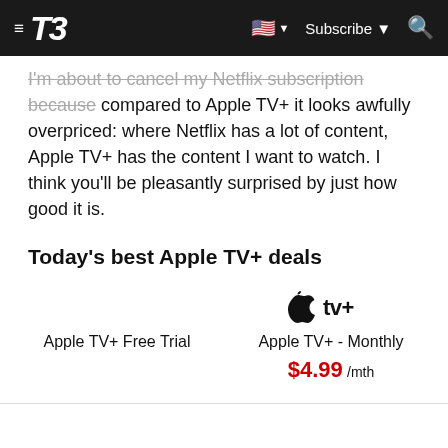T3 — Subscribe
I'm about to cancel my Netflix subscription because compared to Apple TV+ it looks awfully overpriced: where Netflix has a lot of content, Apple TV+ has the content I want to watch. I think you'll be pleasantly surprised by just how good it is.
Today's best Apple TV+ deals
| Product | Price |
| --- | --- |
| Apple TV+ Free Trial |  |
| Apple TV+ - Monthly | $4.99/mth |